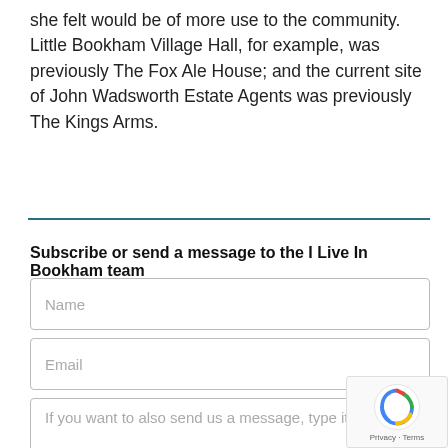she felt would be of more use to the community. Little Bookham Village Hall, for example, was previously The Fox Ale House; and the current site of John Wadsworth Estate Agents was previously The Kings Arms.
Subscribe or send a message to the I Live In Bookham team